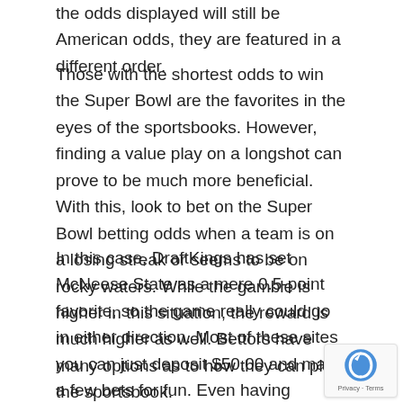the odds displayed will still be American odds, they are featured in a different order.
Those with the shortest odds to win the Super Bowl are the favorites in the eyes of the sportsbooks. However, finding a value play on a longshot can prove to be much more beneficial. With this, look to bet on the Super Bowl betting odds when a team is on a losing streak or seems to be on rocky waters. While the gamble is higher in this situation, the reward is much higher as well. Bettors have many options as to how they can play the sportsbook.
In this case, DraftKings has set McNeese State as a mere 0.5-point favorite, so the game really could go in either direction. Most of these sites you can just deposit $50.00 and make a few bets for fun. Even having $10.00 on a fight adds a lot of excitement to your fight nights.